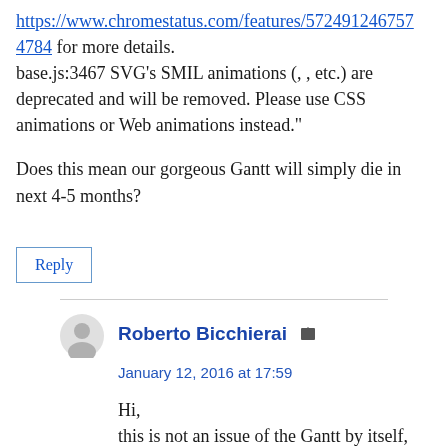https://www.chromestatus.com/features/5724912467574784 for more details.
base.js:3467 SVG's SMIL animations (, , etc.) are deprecated and will be removed. Please use CSS animations or Web animations instead."
Does this mean our gorgeous Gantt will simply die in next 4-5 months?
Reply
Roberto Bicchierai
January 12, 2016 at 17:59
Hi,
this is not an issue of the Gantt by itself, but it comes from jQuery 1.8.3...